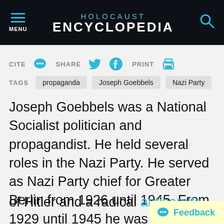HOLOCAUST ENCYCLOPEDIA
CITE  SHARE  PRINT
TAGS  propaganda  Joseph Goebbels  Nazi Party
Joseph Goebbels was a National Socialist politician and propagandist. He held several roles in the Nazi Party. He served as Nazi Party chief for Greater Berlin from 1926 until 1945. From 1929 until 1945 he was Reich leader of propaganda. In 1933, Adolf Hitler appointed Goebbels Reich Minister for Propaganda and Public Enlightenment, a position he held until 1945. Goebbels was an unconditio... of Hitler and a radical antisemite